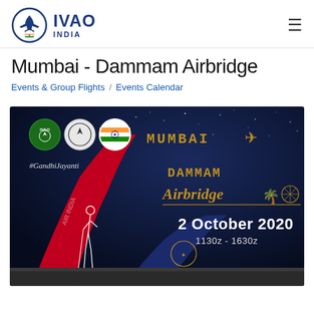IVAO INDIA
Mumbai - Dammam Airbridge
Events & Group Flights / Events Calendar
[Figure (illustration): Event banner for Mumbai - Dammam Airbridge on 2 October 2020, 1130z - 1630z. Features IVAO India logos, Air India and Saudi Arabian Airlines aircraft tails, Gandhi Jayanti reference, dark blue starry sky background with golden 'MUMBAI' and 'DAMMAM Airbridge' text.]